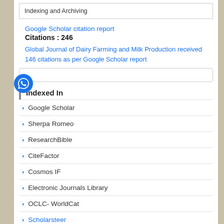Indexing and Archiving
Google Scholar citation report
Citations : 146
Global Journal of Dairy Farming and Milk Production received 146 citations as per Google Scholar report
Indexed In
Google Scholar
Sherpa Romeo
ResearchBible
CiteFactor
Cosmos IF
Electronic Journals Library
OCLC- WorldCat
Scholarsteer